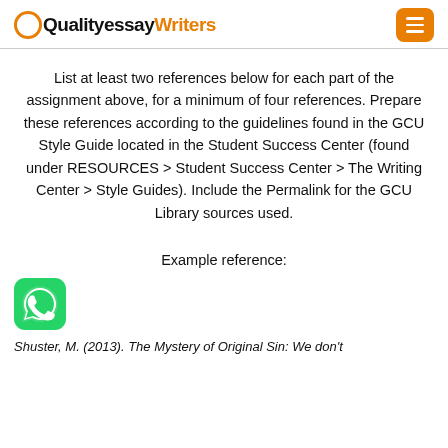QualityessayWriters
List at least two references below for each part of the assignment above, for a minimum of four references. Prepare these references according to the guidelines found in the GCU Style Guide located in the Student Success Center (found under RESOURCES > Student Success Center > The Writing Center > Style Guides). Include the Permalink for the GCU Library sources used.
Example reference:
[Figure (logo): WhatsApp green logo icon]
Shuster, M. (2013). The Mystery of Original Sin: We don't